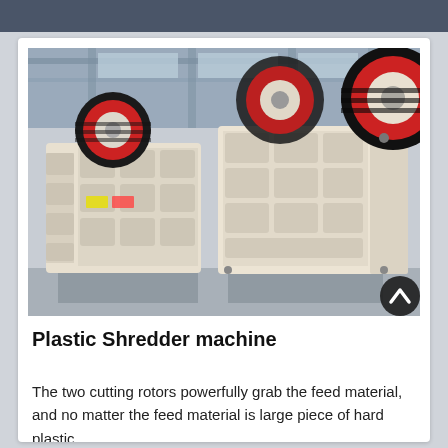[Figure (photo): Industrial jaw crusher / plastic shredder machines in a factory setting. Two large cream/white-colored heavy industrial machines with red and black flywheels on their sides, arranged side by side in an industrial facility with steel structure in the background.]
Plastic Shredder machine
The two cutting rotors powerfully grab the feed material, and no matter the feed material is large piece of hard plastic